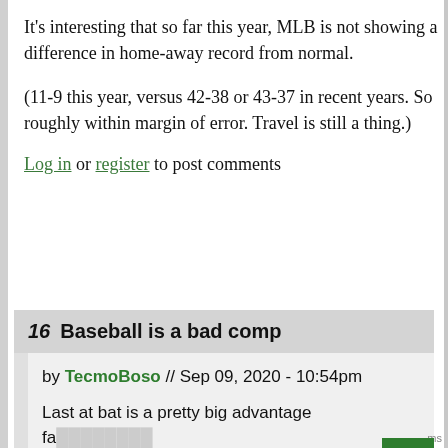It's interesting that so far this year, MLB is not showing a difference in home-away record from normal.
(11-9 this year, versus 42-38 or 43-37 in recent years. So roughly within margin of error. Travel is still a thing.)
Log in or register to post comments
16   Baseball is a bad comp
by TecmoBoso // Sep 09, 2020 - 10:54pm
Last at bat is a pretty big advantage fa or no fans.
IIRC, in both European football and the NBA we haven't seen as much of a home